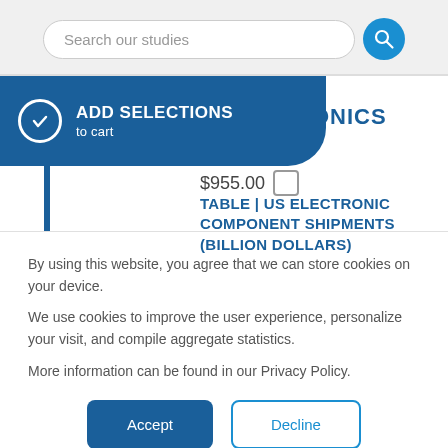Search our studies
ADD SELECTIONS to cart
RONICS
$955.00
TABLE | US ELECTRONIC COMPONENT SHIPMENTS (BILLION DOLLARS)
By using this website, you agree that we can store cookies on your device.

We use cookies to improve the user experience, personalize your visit, and compile aggregate statistics.

More information can be found in our Privacy Policy.
Accept
Decline